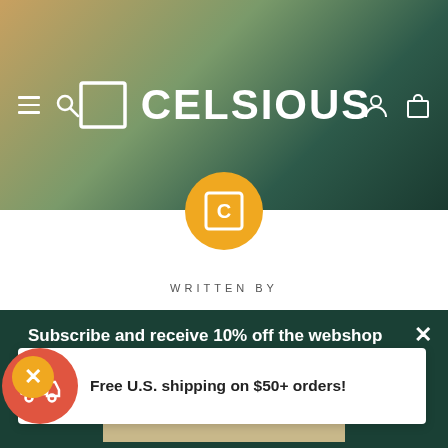[Figure (screenshot): Celsious website header with dark green and gold gradient background, hamburger menu, search icon, Celsious logo (square icon + text), user icon, and bag icon]
[Figure (logo): Orange circle with Celsious C-square logo inside]
WRITTEN BY
Subscribe and receive 10% off the webshop
Free U.S. shipping on $50+ orders!
Type your email
JOIN THE FOLD